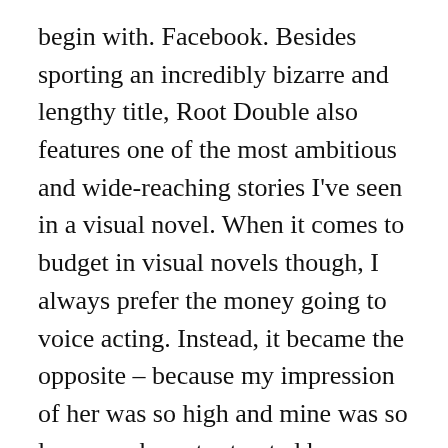begin with. Facebook. Besides sporting an incredibly bizarre and lengthy title, Root Double also features one of the most ambitious and wide-reaching stories I've seen in a visual novel. When it comes to budget in visual novels though, I always prefer the money going to voice acting. Instead, it became the opposite – because my impression of her was so high and mine was so low, my character trusted her more to dive in and perform the rescue while I sat back and watched her succeed. Reviews Root Double: Before Crime * After Days Xtend Edition – Nintendo Switch Review. The game begins with a bang, putting you in the shoes of Watase Kasasagi, a rescue worker and squad captain who mysteriously loses his memory.